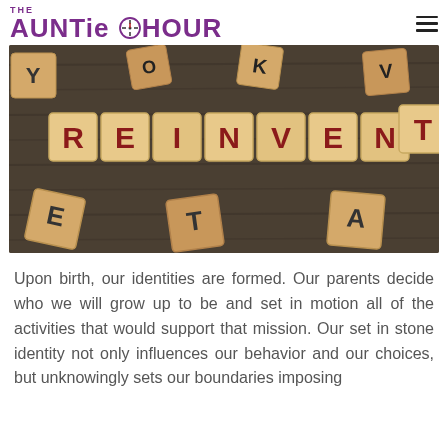THE AUNTIE HOUR
[Figure (photo): Wooden letter blocks arranged on a dark wood surface spelling out REINVENT in red letters, with other scattered blocks around.]
Upon birth, our identities are formed. Our parents decide who we will grow up to be and set in motion all of the activities that would support that mission. Our set in stone identity not only influences our behavior and our choices, but unknowingly sets our boundaries imposing